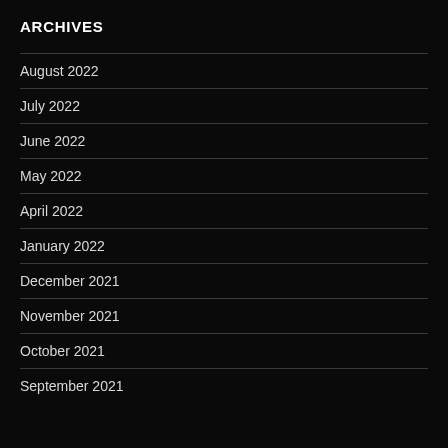ARCHIVES
August 2022
July 2022
June 2022
May 2022
April 2022
January 2022
December 2021
November 2021
October 2021
September 2021